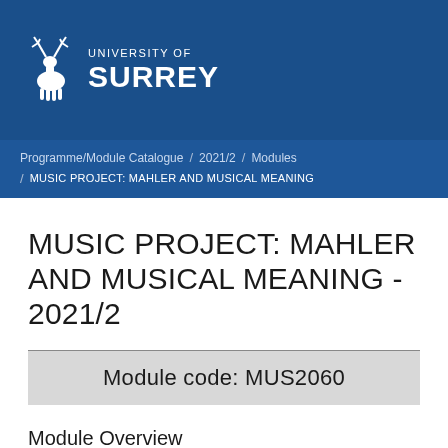[Figure (logo): University of Surrey logo with deer/stag emblem and text 'UNIVERSITY OF SURREY' on dark blue background]
Programme/Module Catalogue / 2021/2 / Modules / MUSIC PROJECT: MAHLER AND MUSICAL MEANING
MUSIC PROJECT: MAHLER AND MUSICAL MEANING - 2021/2
Module code: MUS2060
Module Overview